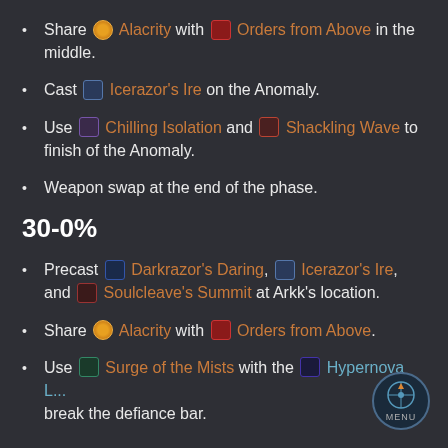Share [Alacrity icon] Alacrity with [Orders icon] Orders from Above in the middle.
Cast [Icerazor icon] Icerazor's Ire on the Anomaly.
Use [Chilling icon] Chilling Isolation and [Shackling icon] Shackling Wave to finish of the Anomaly.
Weapon swap at the end of the phase.
30-0%
Precast [Darkrazor icon] Darkrazor's Daring, [Icerazor icon] Icerazor's Ire, and [Soulcleave icon] Soulcleave's Summit at Arkk's location.
Share [Alacrity icon] Alacrity with [Orders icon] Orders from Above.
Use [Surge icon] Surge of the Mists with the [Hypernova icon] Hypernova L... to break the defiance bar.